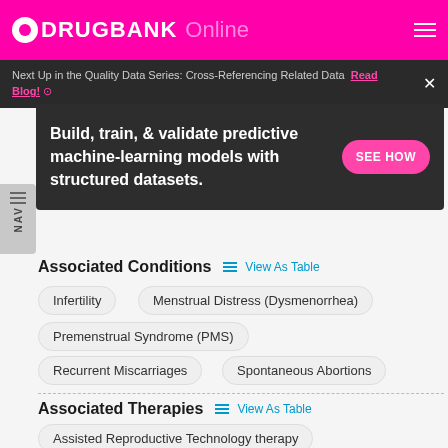DRUGBANK Online
Next Up in the Quality Data Series: Cross-Referencing Related Data  Read Blog!
Build, train, & validate predictive machine-learning models with structured datasets.
Associated Conditions  View As Table
Infertility
Menstrual Distress (Dysmenorrhea)
Premenstrual Syndrome (PMS)
Recurrent Miscarriages
Spontaneous Abortions
Associated Therapies  View As Table
Assisted Reproductive Technology therapy